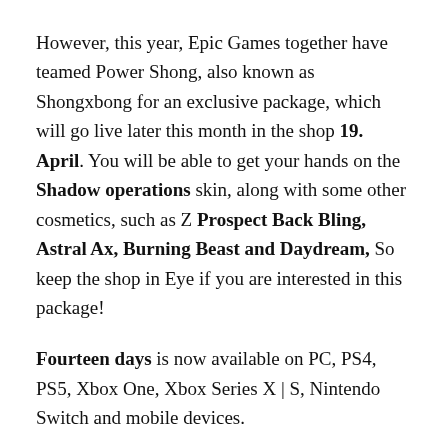However, this year, Epic Games together have teamed Power Shong, also known as Shongxbong for an exclusive package, which will go live later this month in the shop 19. April. You will be able to get your hands on the Shadow operations skin, along with some other cosmetics, such as Z Prospect Back Bling, Astral Ax, Burning Beast and Daydream, So keep the shop in Eye if you are interested in this package!
Fourteen days is now available on PC, PS4, PS5, Xbox One, Xbox Series X | S, Nintendo Switch and mobile devices.
Attack of the Fanboys / Player / Fortnite Lantern Feast Guide: All challenges and rewards of the lantern exams